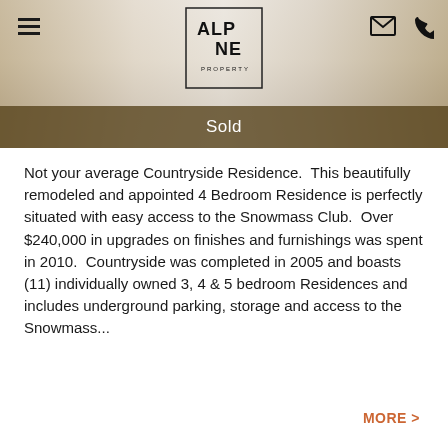[Figure (photo): Header photo of a luxury residence interior with neutral tones, showing a sofa and wood flooring. Alpine Property logo centered at top. Navigation hamburger menu on left, email and phone icons on right.]
Sold
Not your average Countryside Residence.  This beautifully remodeled and appointed 4 Bedroom Residence is perfectly situated with easy access to the Snowmass Club.  Over $240,000 in upgrades on finishes and furnishings was spent in 2010.  Countryside was completed in 2005 and boasts (11) individually owned 3, 4 & 5 bedroom Residences and includes underground parking, storage and access to the Snowmass...
MORE >